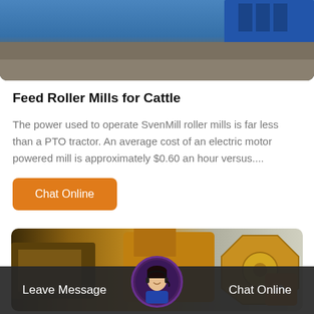[Figure (photo): Industrial machinery/roller mill equipment in a factory setting, blue equipment visible]
Feed Roller Mills for Cattle
The power used to operate SvenMill roller mills is far less than a PTO tractor. An average cost of an electric motor powered mill is approximately $0.60 an hour versus....
[Figure (other): Orange button labeled Chat Online]
[Figure (photo): Yellow/gold industrial machinery outdoors, large equipment visible]
Leave Message   Chat Online